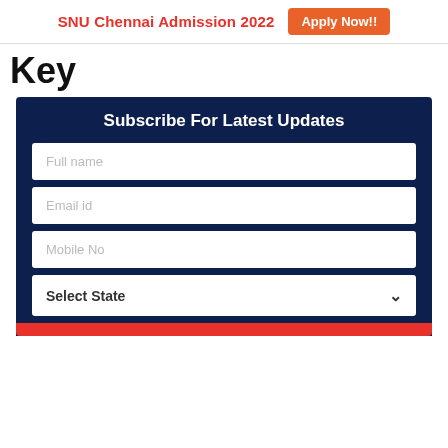SNU Chennai Admission 2022  Apply Now!!
Key
Subscribe For Latest Updates
Full name
Email id
Mobile No
Select State